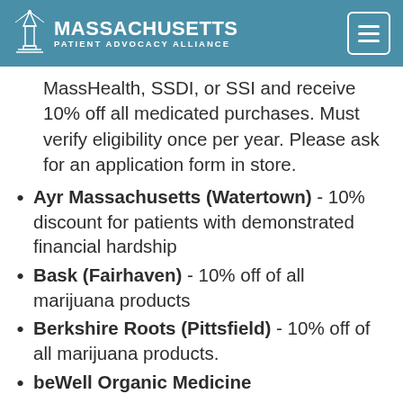MASSACHUSETTS PATIENT ADVOCACY ALLIANCE
MassHealth, SSDI, or SSI and receive 10% off all medicated purchases. Must verify eligibility once per year. Please ask for an application form in store.
Ayr Massachusetts (Watertown) - 10% discount for patients with demonstrated financial hardship
Bask (Fairhaven) - 10% off of all marijuana products
Berkshire Roots (Pittsfield) - 10% off of all marijuana products.
beWell Organic Medicine